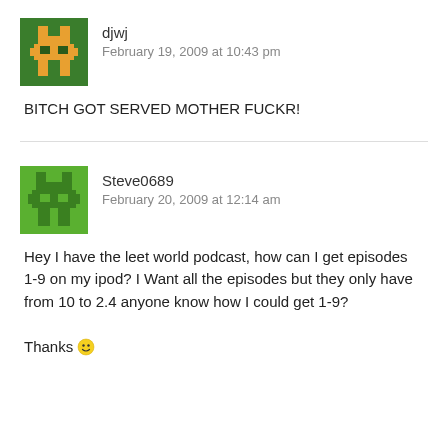[Figure (illustration): Pixel art avatar for user djwj — green and orange 8-bit style character]
djwj
February 19, 2009 at 10:43 pm
BITCH GOT SERVED MOTHER FUCKR!
[Figure (illustration): Pixel art avatar for user Steve0689 — green 8-bit style character]
Steve0689
February 20, 2009 at 12:14 am
Hey I have the leet world podcast, how can I get episodes 1-9 on my ipod? I Want all the episodes but they only have from 10 to 2.4 anyone know how I could get 1-9?

Thanks 🙂